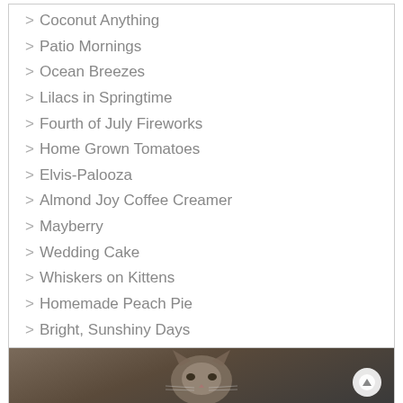> Coconut Anything
> Patio Mornings
> Ocean Breezes
> Lilacs in Springtime
> Fourth of July Fireworks
> Home Grown Tomatoes
> Elvis-Palooza
> Almond Joy Coffee Creamer
> Mayberry
> Wedding Cake
> Whiskers on Kittens
> Homemade Peach Pie
> Bright, Sunshiny Days
> Dirty Jokes
[Figure (photo): Close-up photo of a cat's face, tabby cat looking at camera, with a circular scroll-up button in the bottom right corner]